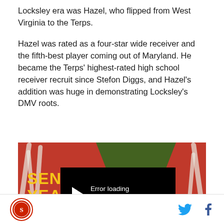Locksley era was Hazel, who flipped from West Virginia to the Terps.
Hazel was rated as a four-star wide receiver and the fifth-best player coming out of Maryland. He became the Terps' highest-rated high school receiver recruit since Stefon Diggs, and Hazel's addition was huge in demonstrating Locksley's DMV roots.
[Figure (screenshot): Video player with error message. Background shows red/orange design with 'SENIOR YEAR' text in yellow and partial text 'TSAI...' at bottom. A green angular shape overlaps the right side. Center shows black error overlay with play button arrow and text 'Error loading media:']
Social media icons: Twitter and Facebook